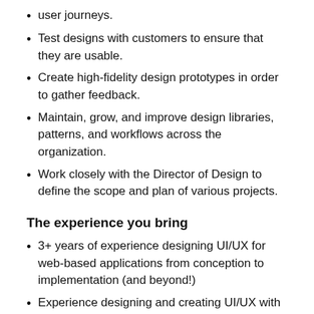user journeys.
Test designs with customers to ensure that they are usable.
Create high-fidelity design prototypes in order to gather feedback.
Maintain, grow, and improve design libraries, patterns, and workflows across the organization.
Work closely with the Director of Design to define the scope and plan of various projects.
The experience you bring
3+ years of experience designing UI/UX for web-based applications from conception to implementation (and beyond!)
Experience designing and creating UI/UX with data visualization, and/or HR-related systems a nice-to-have
Demonstrated ability to understand users, their pain points, and their goals